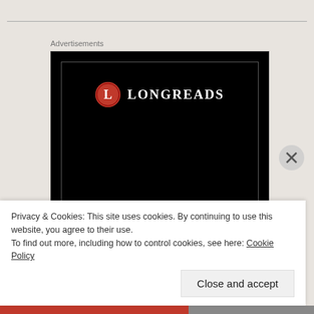Advertisements
[Figure (logo): Longreads advertisement banner. Black background with a red circle containing a white 'L', text 'LONGREADS' in white serif font. Bottom text reads 'Read anything'.]
Privacy & Cookies: This site uses cookies. By continuing to use this website, you agree to their use.
To find out more, including how to control cookies, see here: Cookie Policy
Close and accept